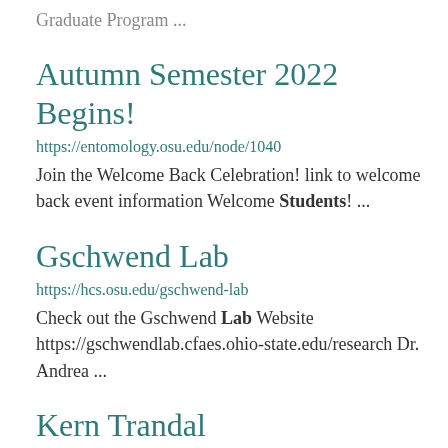Graduate Program ...
Autumn Semester 2022 Begins!
https://entomology.osu.edu/node/1040
Join the Welcome Back Celebration! link to welcome back event information Welcome Students! ...
Gschwend Lab
https://hcs.osu.edu/gschwend-lab
Check out the Gschwend Lab Website https://gschwendlab.cfaes.ohio-state.edu/research Dr. Andrea ...
Kern Trandal